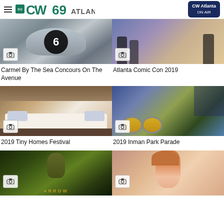The CW69 Atlanta | CW Atlanta ON AIR
[Figure (photo): Close-up of silver racing car with number 6, camera badge overlay]
Carmel By The Sea Concours On The Avenue
[Figure (photo): Atlanta Comic Con 2019 crowd with costumed attendees, camera badge overlay]
Atlanta Comic Con 2019
[Figure (photo): Interior of tiny home with bed and wooden ceiling, camera badge overlay]
2019 Tiny Homes Festival
[Figure (photo): 2019 Inman Park Parade with drummers on street, camera badge overlay]
2019 Inman Park Parade
[Figure (photo): Arrow TV show promotional poster with hooded figure, camera badge overlay]
[Figure (photo): Smiling woman with red hair at event, camera badge overlay]